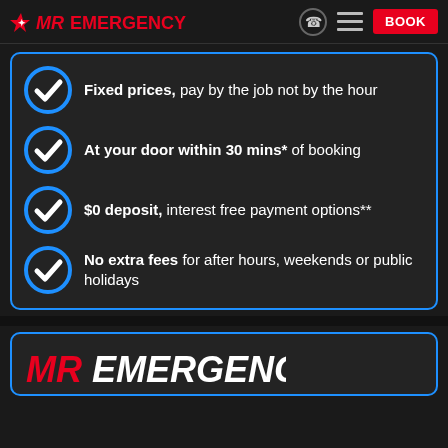MR EMERGENCY — BOOK
Fixed prices, pay by the job not by the hour
At your door within 30 mins* of booking
$0 deposit, interest free payment options**
No extra fees for after hours, weekends or public holidays
[Figure (logo): MR EMERGENCY logo in red and white italic text]